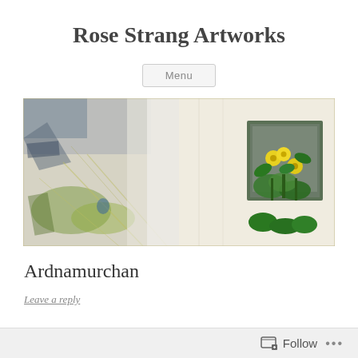Rose Strang Artworks
Menu
[Figure (illustration): A wide panoramic artwork showing an abstract landscape on the left half with grey and green washes, and on the right half a painted window or niche with bright yellow flowers and green leaves growing in front of it.]
Ardnamurchan
Leave a reply
Follow ...